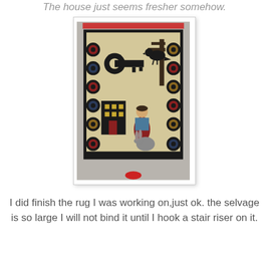The house just seems fresher somehow.
[Figure (photo): A hooked rug laid out on a linen/burlap background. The rug features folk art motifs: a large black key, a crow or raven on a branch, a figure of a woman in blue holding a rabbit, a two-story house with yellow windows, and circular decorative border elements in dark colors. A red ribbon or tape is visible at the top edge of the fabric. A small red shoe tip is visible at the bottom.]
I did finish the rug I was working on,just ok. the selvage is so large I will not bind it until I hook a stair riser on it.